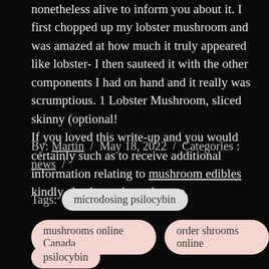nonetheless alive to inform you about it. I first chopped up my lobster mushroom and was amazed at how much it truly appeared like lobster- I then sauteed it with the other components I had on hand and it really was scrumptious. 1 Lobster Mushroom, sliced skinny (optional! If you loved this write-up and you would certainly such as to receive additional information relating to mushroom edibles kindly check out the web page.
By: Martin / May 18, 2022 / Categories : news /
Tags: microdosing psilocybin
mushrooms online Canada   order shrooms online
psilocybin